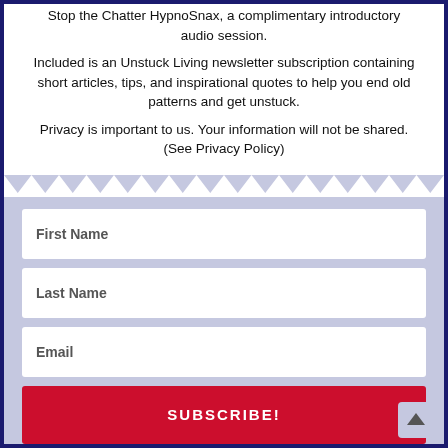Stop the Chatter HypnoSnax, a complimentary introductory audio session.
Included is an Unstuck Living newsletter subscription containing short articles, tips, and inspirational quotes to help you end old patterns and get unstuck.
Privacy is important to us. Your information will not be shared. (See Privacy Policy)
First Name
Last Name
Email
SUBSCRIBE!